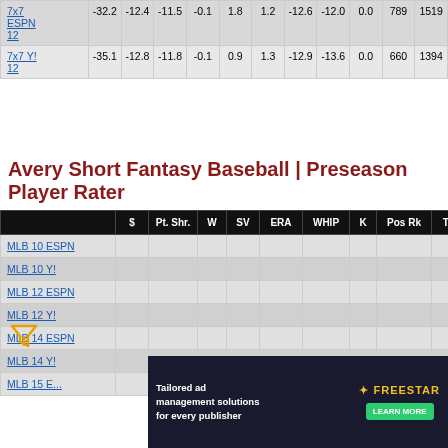|  | $ | Pt. Shr. | W | SV | ERA | WHIP | K | Pos Rk | Tot Rk |
| --- | --- | --- | --- | --- | --- | --- | --- | --- | --- |
| 7x7 ESPN 12 | -32.2 | -12.4 | -11.5 | -0.1 | 1.8 | 1.2 | -12.6 | -12.0 | 0.0 | 789 | 1519 |
| 7x7 Y! 12 | -35.1 | -12.8 | -11.8 | -0.1 | 0.9 | 1.3 | -12.9 | -13.6 | 0.0 | 660 | 1394 |
Avery Short Fantasy Baseball | Preseason Player Rater
|  | $ | Pt. Shr. | W | SV | ERA | WHIP | K | Pos Rk | Tot Rk |
| --- | --- | --- | --- | --- | --- | --- | --- | --- | --- |
| MLB 10 ESPN |  |  |  |  |  |  |  |  |  |
| MLB 10 Y! |  |  |  |  |  |  |  |  |  |
| MLB 12 ESPN |  |  |  |  |  |  |  |  |  |
| MLB 12 Y! |  |  |  |  |  |  |  |  |  |
| MLB 14 ESPN |  |  |  |  |  |  |  |  |  |
| MLB 14 Y! |  |  |  |  |  |  |  |  |  |
| MLB 15 E... |  |  |  |  |  |  |  |  |  |